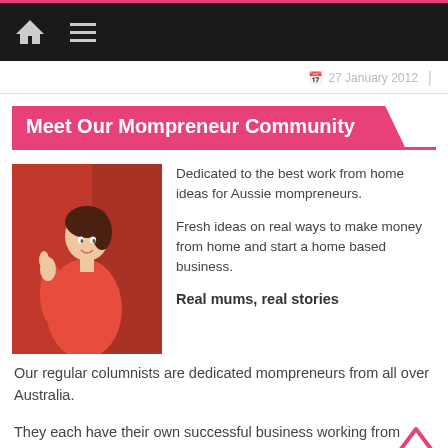Meet Our Mompreneur Community
27 January 2012
Meet Our Mompreneur Community
[Figure (photo): Woman in red dress giving thumbs up, set against a red background]
Dedicated to the best work from home ideas for Aussie mompreneurs.

Fresh ideas on real ways to make money from home and start a home based business.

Real mums, real stories
Our regular columnists are dedicated mompreneurs from all over Australia.

They each have their own successful business working from home online.